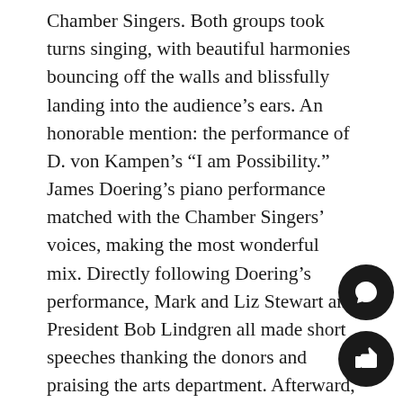Chamber Singers. Both groups took turns singing, with beautiful harmonies bouncing off the walls and blissfully landing into the audience's ears. An honorable mention: the performance of D. von Kampen's “I am Possibility.” James Doering’s piano performance matched with the Chamber Singers’ voices, making the most wonderful mix. Directly following Doering’s performance, Mark and Liz Stewart and President Bob Lindgren all made short speeches thanking the donors and praising the arts department. Afterward, the LUXE Show Choir presented their production, “A Mother’s Love.” With many quick changes, funny quips, intense choreography, and boisterous singing, the Show Choir closed out the show with a bang. After cutting a ribbon to celebrate the new renovations, the crowd ran out to congratulate the performers, ending the first night of the Gala.